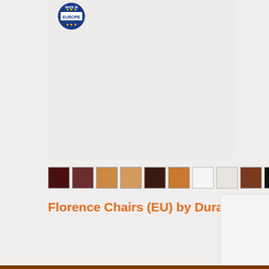[Figure (photo): Product image area showing a light grey/beige background with a 'Made in Europe' circular badge in the top-left corner. The main product (Florence Chair) image area appears blank/empty in this crop.]
[Figure (other): Row of 10 color swatches showing available upholstery/finish colors: dark red/maroon, dark brown, light tan/beige, medium tan/orange, dark brown/espresso, orange/honey, white, light grey/off-white, medium brown, black.]
Florence Chairs (EU) by Durafurn